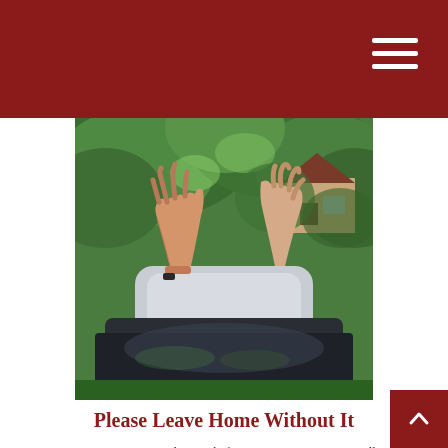[Figure (photo): View from behind a car roof with hands raised in the air, surrounded by lush green trees and a house visible in the background.]
Please Leave Home Without It
Concerns over identity theft continue to grow, especially with data breaches at major companies and financial institutions.